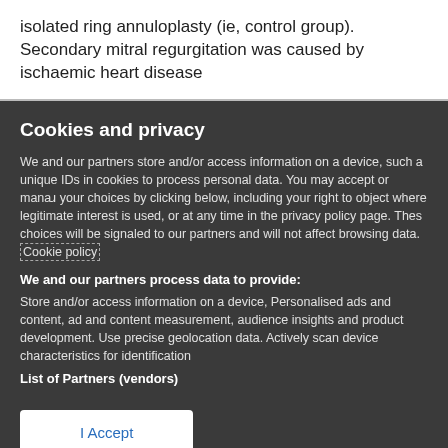isolated ring annuloplasty (ie, control group). Secondary mitral regurgitation was caused by ischaemic heart disease
Cookies and privacy
We and our partners store and/or access information on a device, such as unique IDs in cookies to process personal data. You may accept or manage your choices by clicking below, including your right to object where legitimate interest is used, or at any time in the privacy policy page. These choices will be signaled to our partners and will not affect browsing data. Cookie policy
We and our partners process data to provide:
Store and/or access information on a device, Personalised ads and content, ad and content measurement, audience insights and product development. Use precise geolocation data. Actively scan device characteristics for identification
List of Partners (vendors)
I Accept